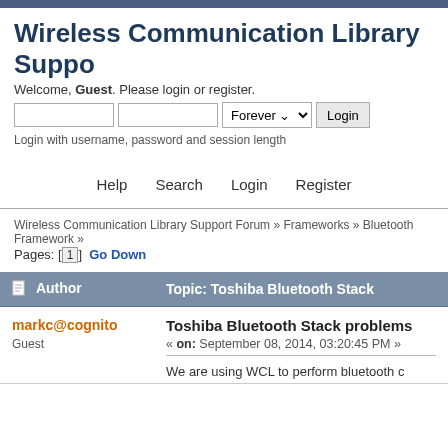Wireless Communication Library Suppo
Welcome, Guest. Please login or register.
Login with username, password and session length
Help   Search   Login   Register
Wireless Communication Library Support Forum » Frameworks » Bluetooth Framework »
Pages: [1]  Go Down
| Author | Topic: Toshiba Bluetooth Stack |
| --- | --- |
| markc@cognito
Guest | Toshiba Bluetooth Stack problems
« on: September 08, 2014, 03:20:45 PM »
We are using WCL to perform bluetooth c |